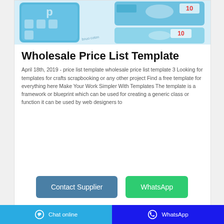[Figure (photo): Product photo showing blue packaged sanitary/hygiene products with numbers 10 and 10 visible on packaging, light blue background]
Wholesale Price List Template
April 18th, 2019 - price list template wholesale price list template 3 Looking for templates for crafts scrapbooking or any other project Find a free template for everything here Make Your Work Simpler With Templates The template is a framework or blueprint which can be used for creating a generic class or function it can be used by web designers to
Contact Supplier
WhatsApp
Chat online   WhatsApp